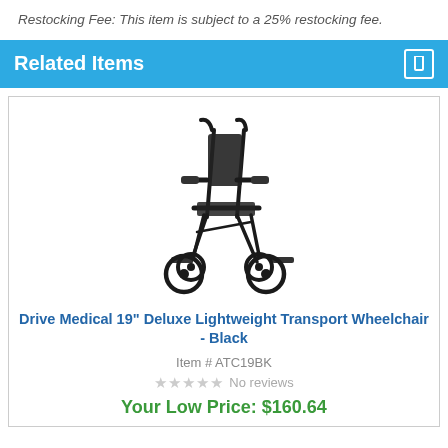Restocking Fee: This item is subject to a 25% restocking fee.
Related Items
[Figure (photo): Black transport wheelchair with small wheels, armrests, and footrests — Drive Medical 19 inch Deluxe Lightweight Transport Wheelchair]
Drive Medical 19" Deluxe Lightweight Transport Wheelchair - Black
Item # ATC19BK
★★★★★ No reviews
Your Low Price: $160.64